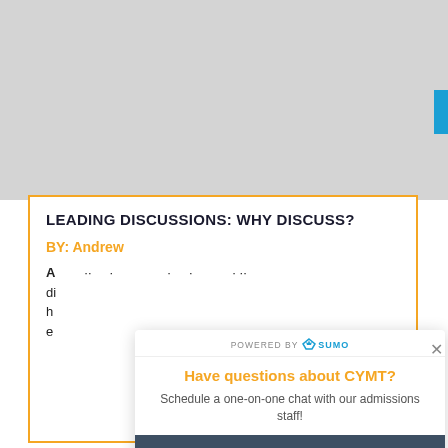[Figure (screenshot): Gray placeholder image area at the top of the page]
LEADING DISCUSSIONS: WHY DISCUSS?
BY: Andrew
A discussion find . . di h . e
[Figure (screenshot): Popup overlay: 'Have questions about CYMT? Schedule a one-on-one chat with our admissions staff!' with a 'Schedule Now' button. Powered by Sumo logo at top.]